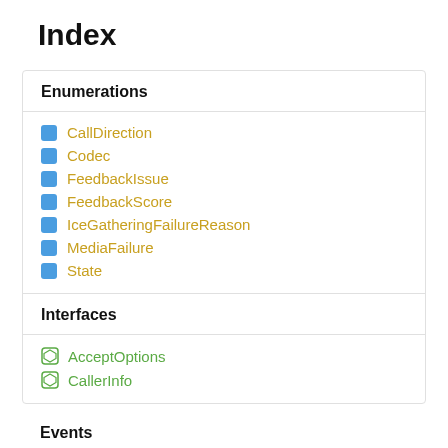Index
Enumerations
CallDirection
Codec
FeedbackIssue
FeedbackScore
IceGatheringFailureReason
MediaFailure
State
Interfaces
AcceptOptions
CallerInfo
Events